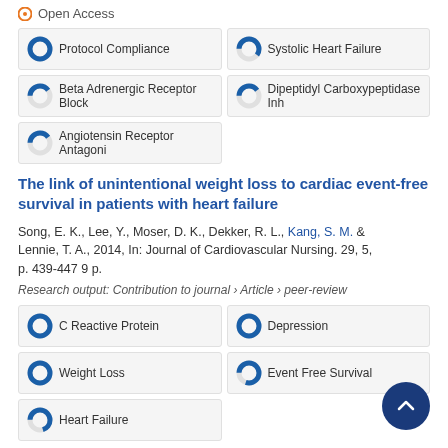[Figure (infographic): Open Access icon (orange circle) with text 'Open Access']
Protocol Compliance (100% donut)
Systolic Heart Failure (60% donut)
Beta Adrenergic Receptor Block (40% donut)
Dipeptidyl Carboxypeptidase Inh (40% donut)
Angiotensin Receptor Antagoni (40% donut)
The link of unintentional weight loss to cardiac event-free survival in patients with heart failure
Song, E. K., Lee, Y., Moser, D. K., Dekker, R. L., Kang, S. M. & Lennie, T. A., 2014, In: Journal of Cardiovascular Nursing. 29, 5, p. 439-447 9 p.
Research output: Contribution to journal › Article › peer-review
C Reactive Protein (100% donut)
Depression (100% donut)
Weight Loss (100% donut)
Event Free Survival (80% donut)
Heart Failure (70% donut)
Trends in hospitalized acute myocardial infarction